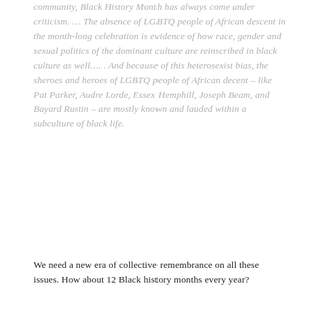community, Black History Month has always come under criticism. … The absence of LGBTQ people of African descent in the month-long celebration is evidence of how race, gender and sexual politics of the dominant culture are reinscribed in black culture as well…. . And because of this heterosexist bias, the sheroes and heroes of LGBTQ people of African decent – like Pat Parker, Audre Lorde, Essex Hemphill, Joseph Beam, and Bayard Rustin – are mostly known and lauded within a subculture of black life.
We need a new era of collective remembrance on all these issues. How about 12 Black history months every year?